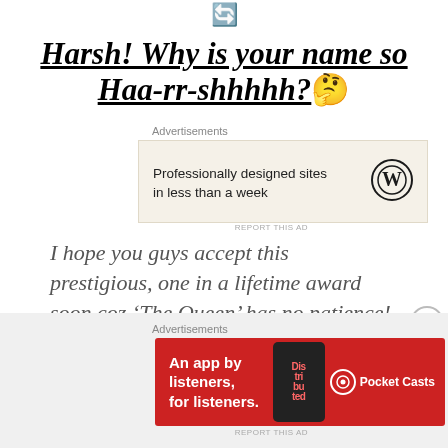[Figure (other): Small circular icon/emoji at the top center of the page]
Harsh! Why is your name so Haa-rr-shhhhh? 🤔
Advertisements
[Figure (other): WordPress advertisement banner: 'Professionally designed sites in less than a week' with WordPress logo]
REPORT THIS AD
I hope you guys accept this prestigious, one in a lifetime award soon coz 'The Queen' has no patience! 🙄
Advertisements
[Figure (other): Pocket Casts advertisement banner: 'An app by listeners, for listeners.' with phone image and Pocket Casts logo on red background]
REPORT THIS AD